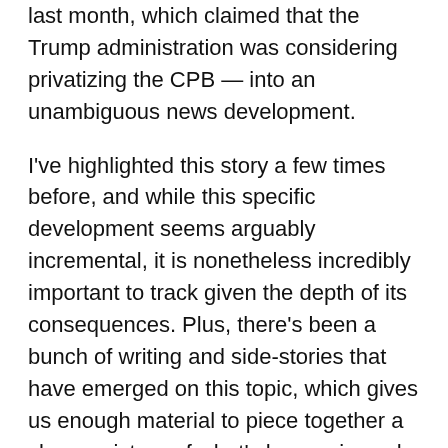last month, which claimed that the Trump administration was considering privatizing the CPB — into an unambiguous news development.
I've highlighted this story a few times before, and while this specific development seems arguably incremental, it is nonetheless incredibly important to track given the depth of its consequences. Plus, there's been a bunch of writing and side-stories that have emerged on this topic, which gives us enough material to piece together a clearer picture of what's happening, why it matters, and why it bites.
Now, it should be noted that the public broadcasting system in general — and the CPB in specific, which serves as a key funding layer for NPR, PBS, and various public broadcasting stations